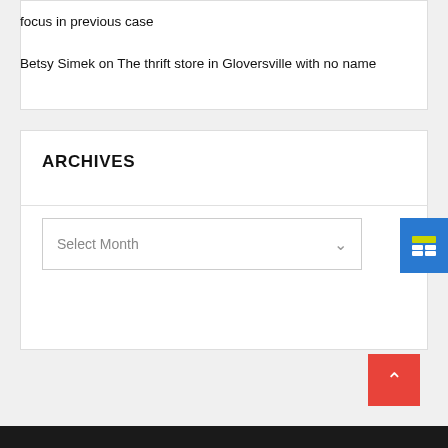focus in previous case

Betsy Simek on The thrift store in Gloversville with no name
ARCHIVES
Select Month